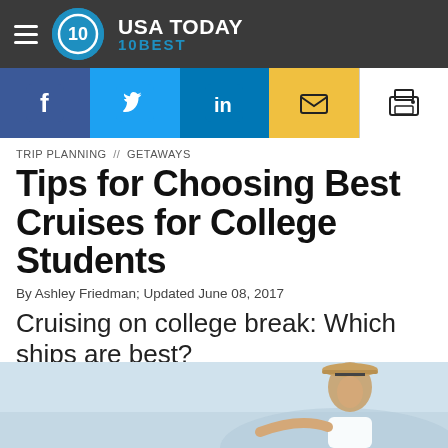USA TODAY 10BEST
[Figure (screenshot): Social sharing buttons: Facebook, Twitter, LinkedIn, Email, Print]
TRIP PLANNING // GETAWAYS
Tips for Choosing Best Cruises for College Students
By Ashley Friedman; Updated June 08, 2017
Cruising on college break: Which ships are best?
[Figure (photo): Photo of a smiling young man wearing a straw fedora hat, pointing, outdoors]